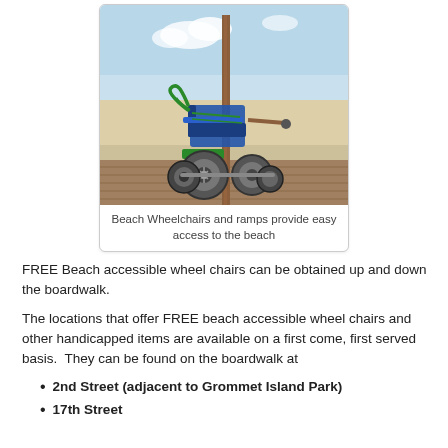[Figure (photo): A beach wheelchair with large inflatable tires sitting on a wooden boardwalk ramp, with sand and blue sky in the background. The wheelchair has a green and blue frame with multiple large round tires for beach access.]
Beach Wheelchairs and ramps provide easy access to the beach
FREE Beach accessible wheel chairs can be obtained up and down the boardwalk.
The locations that offer FREE beach accessible wheel chairs and other handicapped items are available on a first come, first served basis. They can be found on the boardwalk at
2nd Street (adjacent to Grommet Island Park)
17th Street